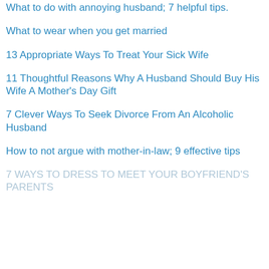What to do with annoying husband; 7 helpful tips.
What to wear when you get married
13 Appropriate Ways To Treat Your Sick Wife
11 Thoughtful Reasons Why A Husband Should Buy His Wife A Mother's Day Gift
7 Clever Ways To Seek Divorce From An Alcoholic Husband
How to not argue with mother-in-law; 9 effective tips
7 WAYS TO DRESS TO MEET YOUR BOYFRIEND'S PARENTS